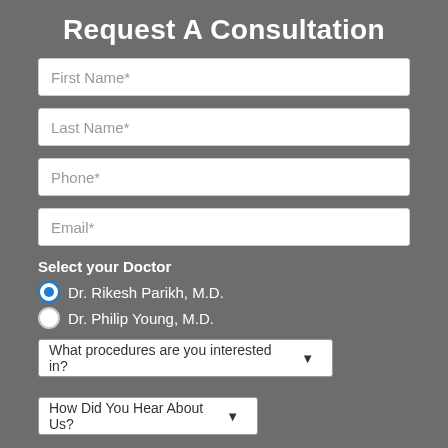Request A Consultation
First Name*
Last Name*
Phone*
Email*
Select your Doctor
Dr. Rikesh Parikh, M.D. (selected)
Dr. Philip Young, M.D.
What procedures are you interested in?
How Did You Hear About Us?
Message